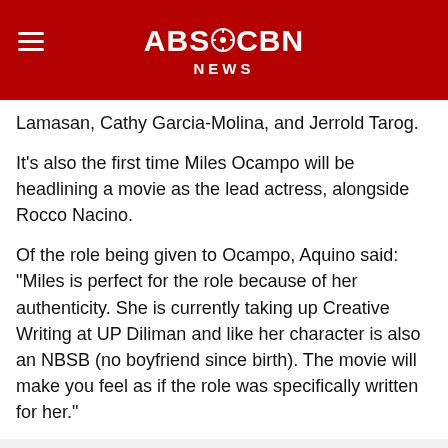ABS-CBN NEWS
Lamasan, Cathy Garcia-Molina, and Jerrold Tarog.
It's also the first time Miles Ocampo will be headlining a movie as the lead actress, alongside Rocco Nacino.
Of the role being given to Ocampo, Aquino said: "Miles is perfect for the role because of her authenticity. She is currently taking up Creative Writing at UP Diliman and like her character is also an NBSB (no boyfriend since birth). The movie will make you feel as if the role was specifically written for her."
TBA Studios CEO Ed Rocha, Direk Crisanto B. Aquino, Ting Nebridaand Chairman Fernando Ortigas. 📷 TBA Studios
The story, Aquino added, will make people fall in love come this Christmas: "Despite their clashing personalities and different perspectives on